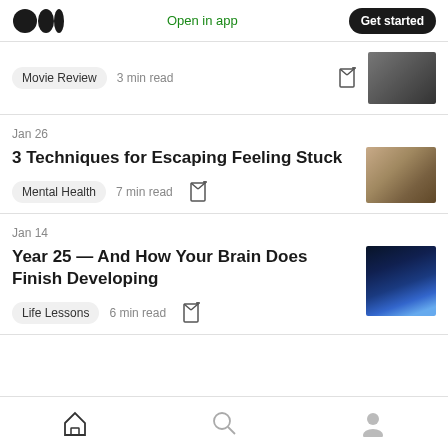Medium logo | Open in app | Get started
Movie Review  3 min read
Jan 26
3 Techniques for Escaping Feeling Stuck
Mental Health  7 min read
Jan 14
Year 25 — And How Your Brain Does Finish Developing
Life Lessons  6 min read
Home | Search | Profile